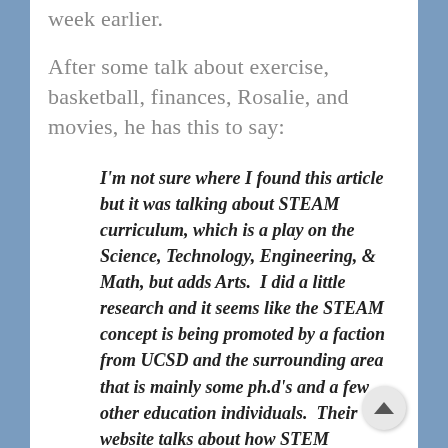week earlier.
After some talk about exercise, basketball, finances, Rosalie, and movies, he has this to say:
I'm not sure where I found this article but it was talking about STEAM curriculum, which is a play on the Science, Technology, Engineering, & Math, but adds Arts.  I did a little research and it seems like the STEAM concept is being promoted by a faction from UCSD and the surrounding area that is mainly some ph.d's and a few other education individuals.  Their website talks about how STEM curriculum is myopically focused on one side of the brain and the workforce needs to have more balanced